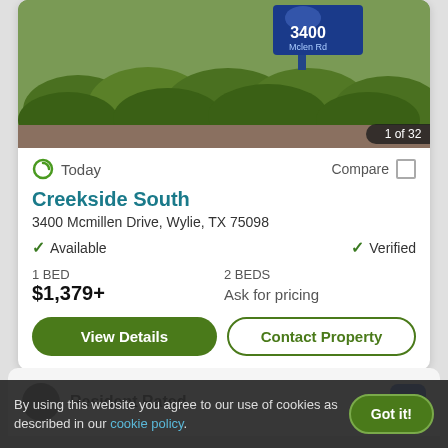[Figure (photo): Photo of Creekside South apartment complex entrance with sign showing '3400 Mcmillen Rd' and surrounding green bushes. Counter badge shows '1 of 32'.]
Today
Compare
Creekside South
3400 Mcmillen Drive, Wylie, TX 75098
Available
Verified
1 BED
$1,379+
2 BEDS
Ask for pricing
View Details
Contact Property
Resident Rated
By using this website you agree to our use of cookies as described in our cookie policy.
Got it!